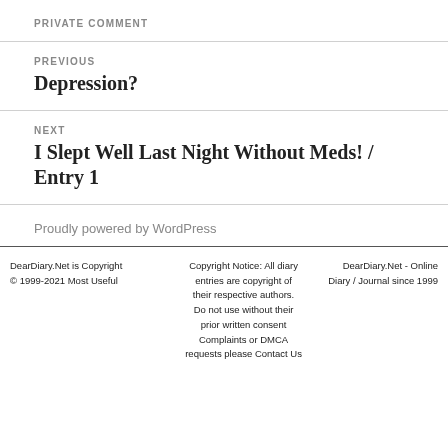PRIVATE COMMENT
PREVIOUS
Depression?
NEXT
I Slept Well Last Night Without Meds! / Entry 1
Proudly powered by WordPress
DearDiary.Net is Copyright © 1999-2021 Most Useful | Copyright Notice: All diary entries are copyright of their respective authors. Do not use without their prior written consent Complaints or DMCA requests please Contact Us | DearDiary.Net - Online Diary / Journal since 1999